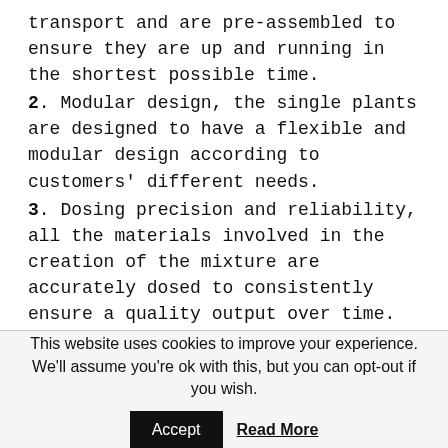transport and are pre-assembled to ensure they are up and running in the shortest possible time.
2. Modular design, the single plants are designed to have a flexible and modular design according to customers' different needs.
3. Dosing precision and reliability, all the materials involved in the creation of the mixture are accurately dosed to consistently ensure a quality output over time.
4. Cutting-edge mixing technology, first-class materials and detailed design to ensure a constantly high-quality mixing performance over time and easy maintenance.
5. Complete operational control that can be integrated with the CIFA Vista monitoring plant: an intuitive
This website uses cookies to improve your experience. We'll assume you're ok with this, but you can opt-out if you wish.
Accept  Read More